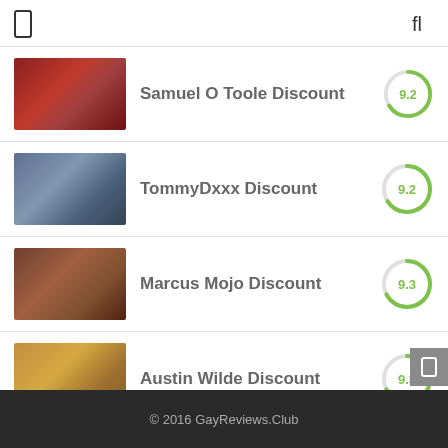Navigation header with menu icon and search icon
Samuel O Toole Discount — Score: 9.2
TommyDxxx Discount — Score: 9.2
Marcus Mojo Discount — Score: 9.3
Austin Wilde Discount — Score: 9.3
© 2016 GayReviews.Club